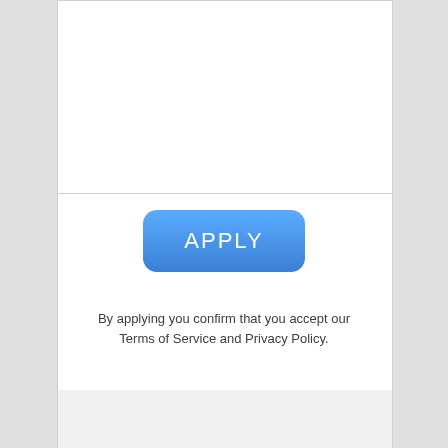[Figure (screenshot): White card panel with an empty input/text area at the top with a bottom border line.]
APPLY
By applying you confirm that you accept our Terms of Service and Privacy Policy.